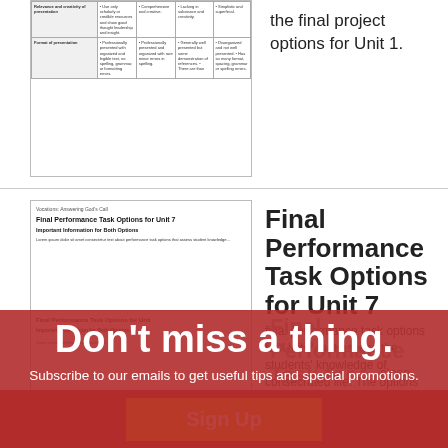| Category | Excellent | Good | Satisfactory | Needs Improvement |
| --- | --- | --- | --- | --- |
| Relevance and creativity of presentation | Use only scholarly or credible resources and show good thought leadership and insight. | Comprehensive and creative. | Lacking in substance and creativity. | Simplistic and superficial. |
| Format of presentation | Professionally presented with organized and legible text, no spelling, grammar, or formatting errors. | Professionally presented and organized with rare minor errors in spelling. | Generally well presented but some demonstration of references. There are than | Disorganized and not well presented. Has so many format, spacing, grammar or spelling errors. |
the final project options for Unit 1.
[Figure (screenshot): Thumbnail of a document titled 'Final Performance Task Options for Unit 7' with subtitle 'Important Information for Both Options']
Final Performance Task Options for Unit 7
final performance task options for Unit 7 that assess the students' knowledge of consecrated life. The options include writing a biographical essay about a woman or a man who chose the consecrated life, or giving an oral presentation on a …
close
Don't miss a thing.
Subscribe to our emails to get useful tips and special promotions.
Sign Up